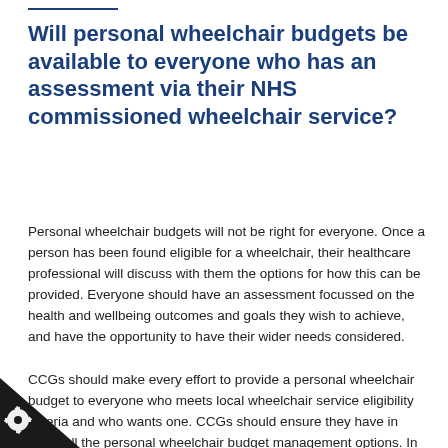Will personal wheelchair budgets be available to everyone who has an assessment via their NHS commissioned wheelchair service?
Personal wheelchair budgets will not be right for everyone. Once a person has been found eligible for a wheelchair, their healthcare professional will discuss with them the options for how this can be provided. Everyone should have an assessment focussed on the health and wellbeing outcomes and goals they wish to achieve, and have the opportunity to have their wider needs considered.
CCGs should make every effort to provide a personal wheelchair budget to everyone who meets local wheelchair service eligibility criteria and who wants one. CCGs should ensure they have in place all the personal wheelchair budget management options. In